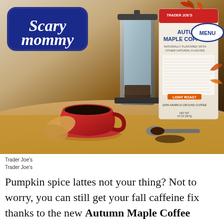[Figure (photo): Photo of a red coffee mug on a wooden board with a French press, autumn leaf-shaped cookies, a spoon with ground coffee, and a Trader Joe's Autumn Maple Coffee box in the background. Scary Mommy and MENU logos are overlaid on the image.]
Trader Joe's
Trader Joe's
Pumpkin spice lattes not your thing? Not to worry, you can still get your fall caffeine fix thanks to the new Autumn Maple Coffee ($7.99). You can't get anymore autumnal than that. No, really, you can't. It literally says